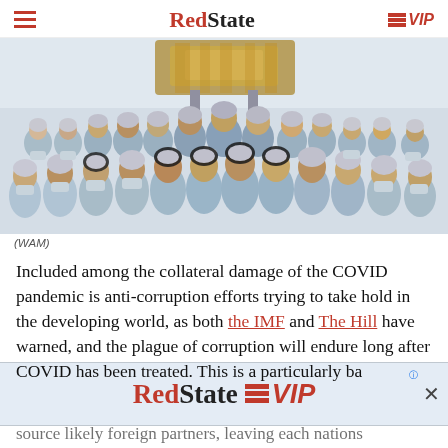RedState | VIP
[Figure (photo): Group photo of approximately 35 people in blue cleanroom suits and hair caps, posing in front of a spacecraft or satellite in a cleanroom facility. Both men and women are present, with some women wearing black hijabs under their blue caps.]
(WAM)
Included among the collateral damage of the COVID pandemic is anti-corruption efforts trying to take hold in the developing world, as both the IMF and The Hill have warned, and the plague of corruption will endure long after COVID has been treated. This is a particularly ba
[Figure (advertisement): RedState VIP advertisement banner]
source likely foreign partners, leaving each nations